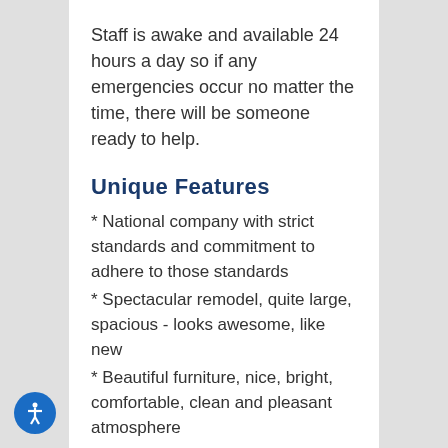Staff is awake and available 24 hours a day so if any emergencies occur no matter the time, there will be someone ready to help.
Unique Features
* National company with strict standards and commitment to adhere to those standards
* Spectacular remodel, quite large, spacious - looks awesome, like new
* Beautiful furniture, nice, bright, comfortable, clean and pleasant atmosphere
* High staff/resident ratio
* New open dining policy - dining room is open from 7 a.m. to 6 p.m.
* New Activities Director on staff